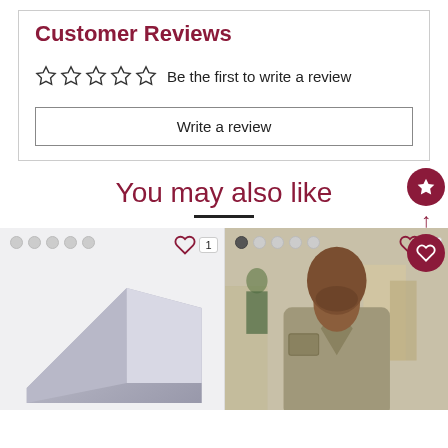Customer Reviews
☆☆☆☆☆  Be the first to write a review
Write a review
You may also like
[Figure (photo): Product listing section with two product cards: a grey fabric/cushion item on the left and a man wearing a khaki shirt on the right. Each card has a heart icon with a count badge (1 and 3 respectively) and dot navigation indicators.]
[Figure (infographic): Floating action buttons on the right side: a dark red circle with a star icon and a dark red circle with a heart icon, connected by an upward arrow.]